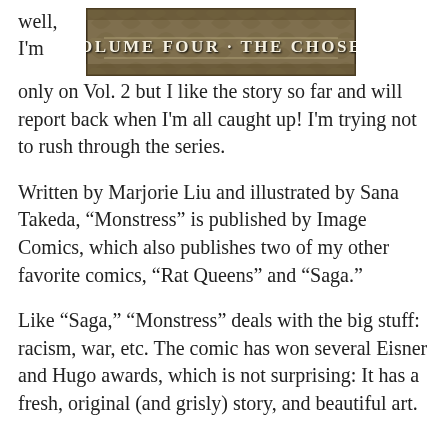well,
I'm
[Figure (illustration): Book cover image for 'Monstress Volume Four: The Chosen' with ornate decorative text on a textured background]
only on Vol. 2 but I like the story so far and will report back when I'm all caught up! I'm trying not to rush through the series.
Written by Marjorie Liu and illustrated by Sana Takeda, “Monstress” is published by Image Comics, which also publishes two of my other favorite comics, “Rat Queens” and “Saga.”
Like “Saga,” “Monstress” deals with the big stuff: racism, war, etc. The comic has won several Eisner and Hugo awards, which is not surprising: It has a fresh, original (and grisly) story, and beautiful art.